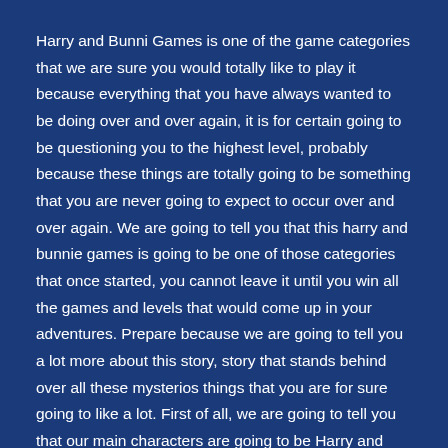Harry and Bunni Games is one of the game categories that we are sure you would totally like to play it because everything that you have always wanted to be doing over and over again, it is for certain going to be questioning you to the highest level, probably because these things are totally going to be something that you are never going to expect to occur over and over again. We are going to tell you that this harry and bunnie games is going to be one of those categories that once started, you cannot leave it until you win all the games and levels that would come up in your adventures. Prepare because we are going to tell you a lot more about this story, story that stands behind over all these mysterios things that you are for sure going to like a lot. First of all, we are going to tell you that our main characters are going to be Harry and Bunni. They are going to work together and do a magic trick, so that is why they are quite close to eachother. Their relationship is quite great and we are going to ensure you that you can have a great time if you are really careful every single time you would be close to them from now on. Harry and Bunni. So, there is the main story. First is...